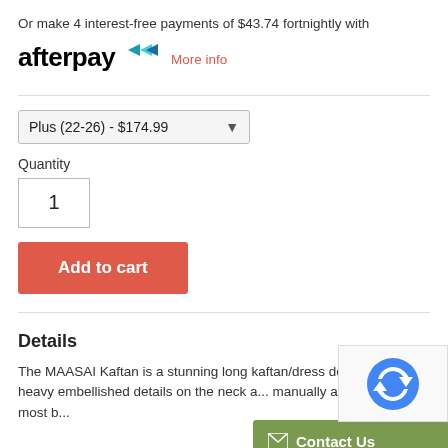Or make 4 interest-free payments of $43.74 fortnightly with
[Figure (logo): Afterpay logo with stylized chevron arrows in black and teal/blue]
More info
Plus (22-26) - $174.99
Quantity
1
Add to cart
Details
The MAASAI Kaftan is a stunning long kaftan/dress decorated with heavy embellished details on the neck a... manually applied over the most b...
[Figure (other): Contact Us button overlay with envelope icon on green background]
[Figure (other): reCAPTCHA widget overlay in bottom right corner]